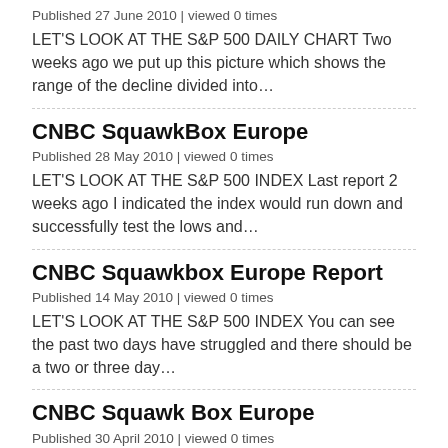Published 27 June 2010 | viewed 0 times
LET'S LOOK AT THE S&P 500 DAILY CHART Two weeks ago we put up this picture which shows the range of the decline divided into…
CNBC SquawkBox Europe
Published 28 May 2010 | viewed 0 times
LET'S LOOK AT THE S&P 500 INDEX Last report 2 weeks ago I indicated the index would run down and successfully test the lows and…
CNBC Squawkbox Europe Report
Published 14 May 2010 | viewed 0 times
LET'S LOOK AT THE S&P 500 INDEX You can see the past two days have struggled and there should be a two or three day…
CNBC Squawk Box Europe
Published 30 April 2010 | viewed 0 times
LET'S LOOK AT THE S&P 500 INDEX DAILY CHART…